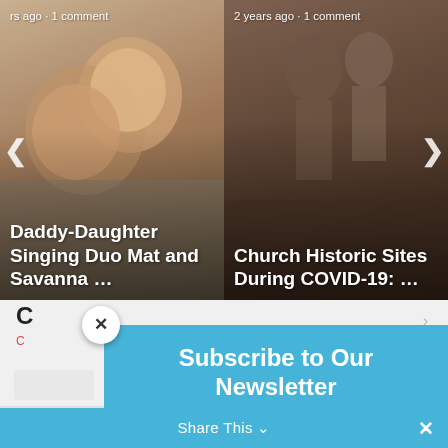[Figure (screenshot): Carousel card left: smiling couple, text 'rs ago · 1 comment' and title 'Daddy-Daughter Singing Duo Mat and Savanna …']
[Figure (screenshot): Carousel card right: statue/monument, text '2 years ago · 1 comment' and title 'Church Historic Sites During COVID-19: …']
Subscribe to Our Newsletter
Join our weekly mailing list to receive the latest in LDS News.
Email
SUBSCRIBE!
Share This